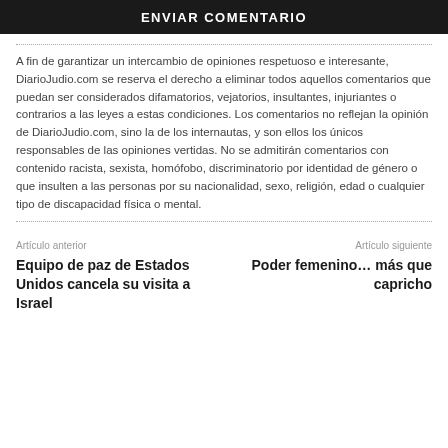ENVIAR COMENTARIO
A fin de garantizar un intercambio de opiniones respetuoso e interesante, DiarioJudio.com se reserva el derecho a eliminar todos aquellos comentarios que puedan ser considerados difamatorios, vejatorios, insultantes, injuriantes o contrarios a las leyes a estas condiciones. Los comentarios no reflejan la opinión de DiarioJudio.com, sino la de los internautas, y son ellos los únicos responsables de las opiniones vertidas. No se admitirán comentarios con contenido racista, sexista, homófobo, discriminatorio por identidad de género o que insulten a las personas por su nacionalidad, sexo, religión, edad o cualquier tipo de discapacidad física o mental.
Artículo anterior
Equipo de paz de Estados Unidos cancela su visita a Israel
Artículo siguiente
Poder femenino… más que capricho